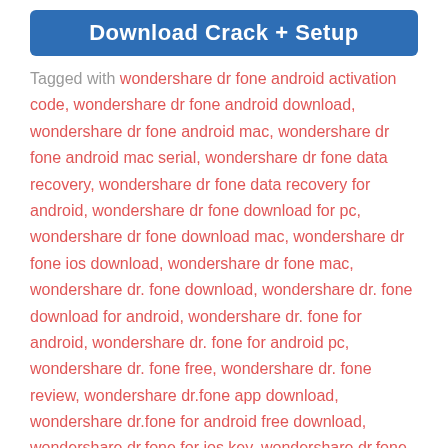[Figure (other): Blue download button with white bold text reading 'Download Crack + Setup']
Tagged with wondershare dr fone android activation code, wondershare dr fone android download, wondershare dr fone android mac, wondershare dr fone android mac serial, wondershare dr fone data recovery, wondershare dr fone data recovery for android, wondershare dr fone download for pc, wondershare dr fone download mac, wondershare dr fone ios download, wondershare dr fone mac, wondershare dr. fone download, wondershare dr. fone download for android, wondershare dr. fone for android, wondershare dr. fone for android pc, wondershare dr. fone free, wondershare dr. fone review, wondershare dr.fone app download, wondershare dr.fone for android free download, wondershare dr.fone for ios key, wondershare dr.fone